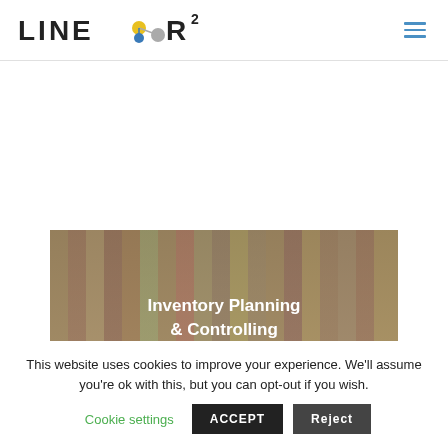LINEAR² [logo with hamburger menu]
[Figure (photo): Warehouse shelves stocked with various packaged goods and products, hero image with overlay text 'Inventory Planning & Controlling']
Inventory Planning & Controlling
This website uses cookies to improve your experience. We'll assume you're ok with this, but you can opt-out if you wish.
Cookie settings  ACCEPT  Reject